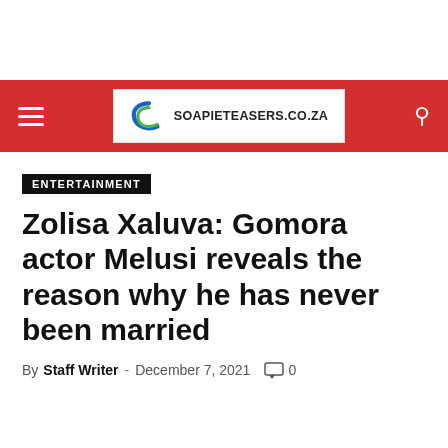SOAPIETEASERS.CO.ZA (navigation bar with logo, hamburger menu, search icon)
ENTERTAINMENT
Zolisa Xaluva: Gomora actor Melusi reveals the reason why he has never been married
By Staff Writer - December 7, 2021   0